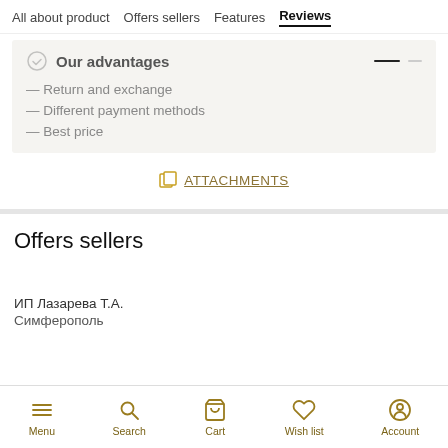All about product   Offers sellers   Features   Reviews
Our advantages
— Return and exchange
— Different payment methods
— Best price
ATTACHMENTS
Offers sellers
ИП Лазарева Т.А.
Симферополь
Menu   Search   Cart   Wish list   Account